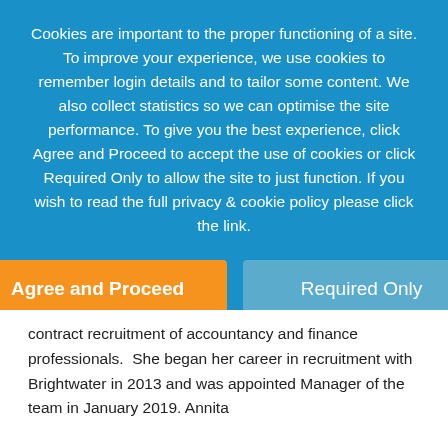Cookies are important to the proper functioning of a site. To improve your experience, we use cookies to remember login details and to tailor some content. We also collect statistics so we can optimise the site performance. To give you the best experience, click Agree and Proceed to accept the use of cookies or click Required Only to allow the site to just function. If you wish to read the full privacy & cookie policy please click the link.
Agree and Proceed
Required Only
Privacy policy
contract recruitment of accountancy and finance professionals.  She began her career in recruitment with Brightwater in 2013 and was appointed Manager of the team in January 2019. Annita